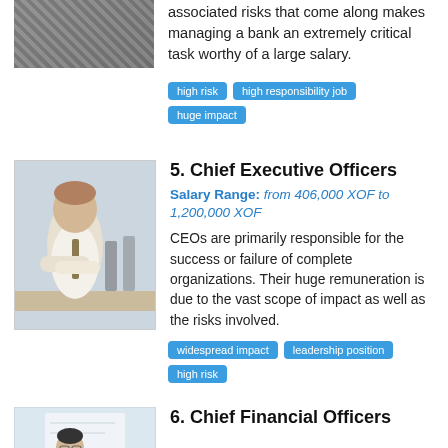[Figure (photo): Partial photo of a person (cropped, top portion visible)]
associated risks that come along makes managing a bank an extremely critical task worthy of a large salary.
high risk
high responsibility job
huge impact
[Figure (photo): Photo of a smiling businessman in a white shirt and tie with arms crossed in a conference room]
5. Chief Executive Officers
Salary Range: from 406,000 XOF to 1,200,000 XOF
CEOs are primarily responsible for the success or failure of complete organizations. Their huge remuneration is due to the vast scope of impact as well as the risks involved.
widespread impact
leadership position
high risk
[Figure (photo): Partial photo of a man with glasses in a bright setting]
6. Chief Financial Officers